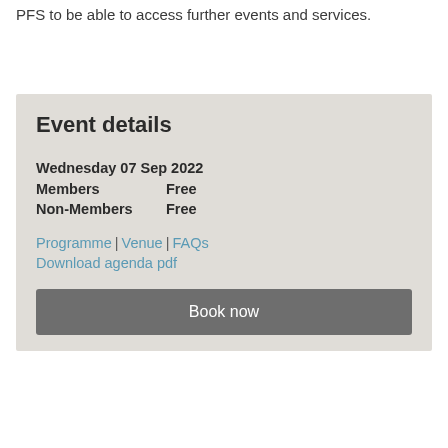PFS to be able to access further events and services.
Event details
Wednesday 07 Sep 2022
Members    Free
Non-Members    Free
Programme | Venue | FAQs
Download agenda pdf
Book now